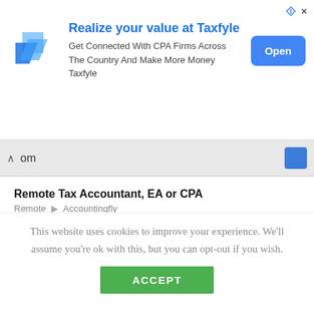[Figure (other): Taxfyle advertisement banner with logo, headline 'Realize your value at Taxfyle', subtext about CPA Firms, and Open button]
om (partial search bar text)
Remote Tax Accountant, EA or CPA
Remote • Accountingfly
Remote Automation Lead, Accounting Data
Remote • Accountingfly
Remote Tax Manager, CPA
This website uses cookies to improve your experience. We'll assume you're ok with this, but you can opt-out if you wish.